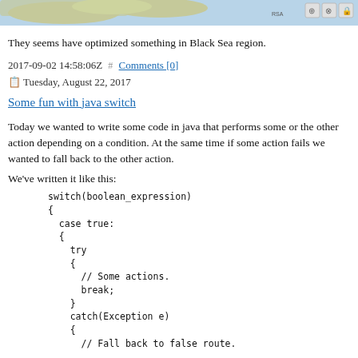[Figure (map): A partial map image showing the Black Sea region with light blue water and greenish land masses. Browser UI icons visible in top right.]
They seems have optimized something in Black Sea region.
2017-09-02 14:58:06Z # Comments [0]
📋 Tuesday, August 22, 2017
Some fun with java switch
Today we wanted to write some code in java that performs some or the other action depending on a condition. At the same time if some action fails we wanted to fall back to the other action.
We've written it like this: